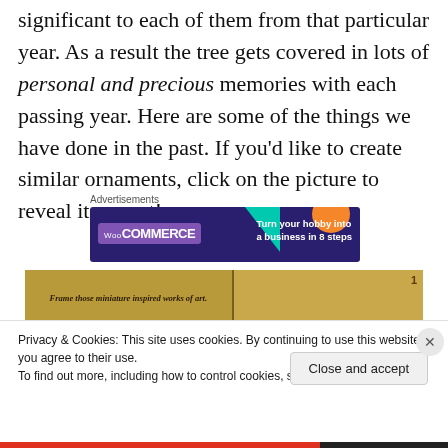significant to each of them from that particular year. As a result the tree gets covered in lots of personal and precious memories with each passing year. Here are some of the things we have done in the past. If you'd like to create similar ornaments, click on the picture to reveal its secret!
Advertisements
[Figure (screenshot): WooCommerce advertisement banner: 'Turn your hobby into a business in 8 steps' on dark navy background with teal and orange accent shapes]
[Figure (photo): Two-panel image strip: left panel shows ornate gold background with text 'Frame those miniature inspired works of art', right panel shows gold decorative items with number 1]
Privacy & Cookies: This site uses cookies. By continuing to use this website, you agree to their use.
To find out more, including how to control cookies, see here: Cookie Policy